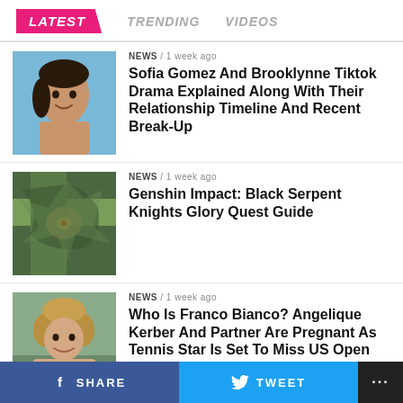LATEST   TRENDING   VIDEOS
[Figure (photo): Young woman smiling, outdoor photo with blue sky background]
NEWS / 1 week ago
Sofia Gomez And Brooklynne Tiktok Drama Explained Along With Their Relationship Timeline And Recent Break-Up
[Figure (photo): Genshin Impact game map screenshot with colorful terrain]
NEWS / 1 week ago
Genshin Impact: Black Serpent Knights Glory Quest Guide
[Figure (photo): Man with curly blond hair smiling, outdoor photo]
NEWS / 1 week ago
Who Is Franco Bianco? Angelique Kerber And Partner Are Pregnant As Tennis Star Is Set To Miss US Open
TRENDING
NET WORTH / 8 months ago